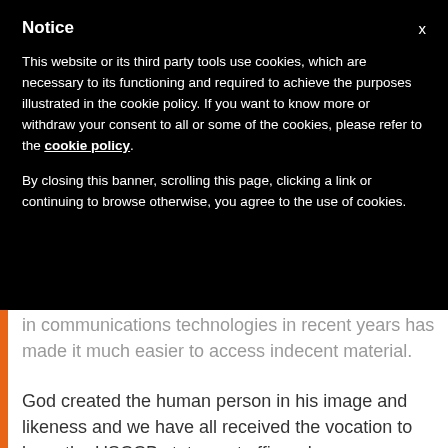Notice
This website or its third party tools use cookies, which are necessary to its functioning and required to achieve the purposes illustrated in the cookie policy. If you want to know more or withdraw your consent to all or some of the cookies, please refer to the cookie policy.
By closing this banner, scrolling this page, clicking a link or continuing to browse otherwise, you agree to the use of cookies.
pornography, the statement explained, and changes in communications technologies in recent years has made it much easier to access indecent material.
God created the human person in his image and likeness and we have all received the vocation to love, the USCCB statement affirmed.